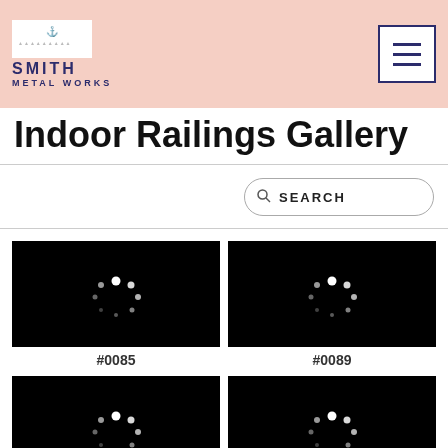Smith Metal Works — Indoor Railings Gallery
Indoor Railings Gallery
SEARCH
[Figure (screenshot): Loading spinner (white dots on black background) for gallery item #0085]
#0085
[Figure (screenshot): Loading spinner (white dots on black background) for gallery item #0089]
#0089
[Figure (screenshot): Loading spinner (white dots on black background) for a gallery item below #0085]
[Figure (screenshot): Loading spinner (white dots on black background) for a gallery item below #0089]